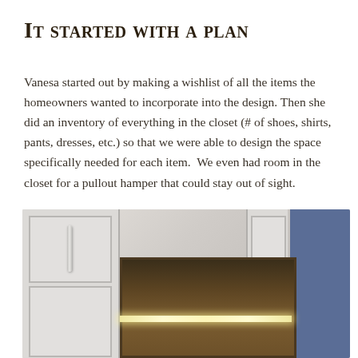It started with a plan
Vanesa started out by making a wishlist of all the items the homeowners wanted to incorporate into the design. Then she did an inventory of everything in the closet (# of shoes, shirts, pants, dresses, etc.) so that we were able to design the space specifically needed for each item.  We even had room in the closet for a pullout hamper that could stay out of sight.
[Figure (photo): Photo of a custom closet showing white paneled cabinet doors on the left, an open pull-out drawer unit in the center with warm wood interior and LED strip lighting, a blue accent wall on the right, and silhouettes of people at the bottom.]